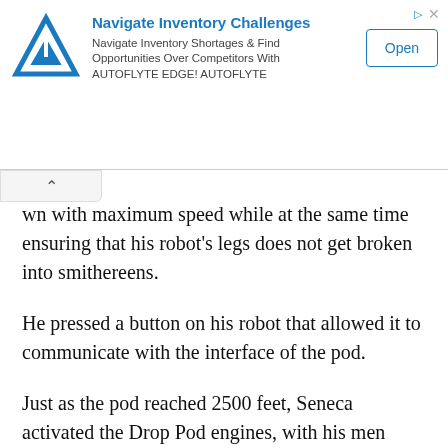[Figure (other): Advertisement banner: Navigate Inventory Challenges - Navigate Inventory Shortages & Find Opportunities Over Competitors With AUTOFLYTE EDGE! AUTOFLYTE. Blue triangle logo on left, Open button on right.]
wn with maximum speed while at the same time ensuring that his robot's legs does not get broken into smithereens.
He pressed a button on his robot that allowed it to communicate with the interface of the pod.
Just as the pod reached 2500 feet, Seneca activated the Drop Pod engines, with his men following in earnest.
Within a couple of seconds, the drop pods reached the ground with a bang, crashing into